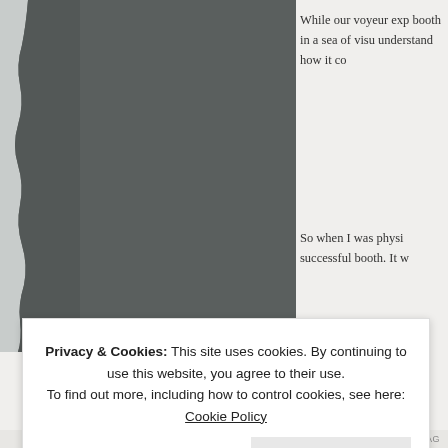[Figure (photo): A large photograph taking up the left portion of the page, showing a dark gray/slate colored torn-paper or rocky texture surface.]
While our voyeur exp booth in a sea of visu understand how it co
So when I was physi successful booth. It w
Privacy & Cookies: This site uses cookies. By continuing to use this website, you agree to their use.
To find out more, including how to control cookies, see here: Cookie Policy
Close and accept
AIRPORT-TIPS.AG